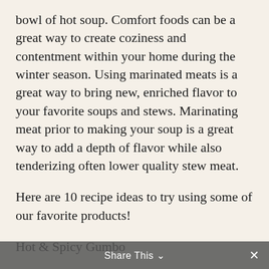bowl of hot soup. Comfort foods can be a great way to create coziness and contentment within your home during the winter season. Using marinated meats is a great way to bring new, enriched flavor to your favorite soups and stews. Marinating meat prior to making your soup is a great way to add a depth of flavor while also tenderizing often lower quality stew meat.
Here are 10 recipe ideas to try using some of our favorite products!
Hot & Spicy Gumbo
With spices and seasonings drawn from Cajun roots, our Hot & Spicy marinade is the perfect ingredient to add an extra kick of spice to your
Share This ∨  ×